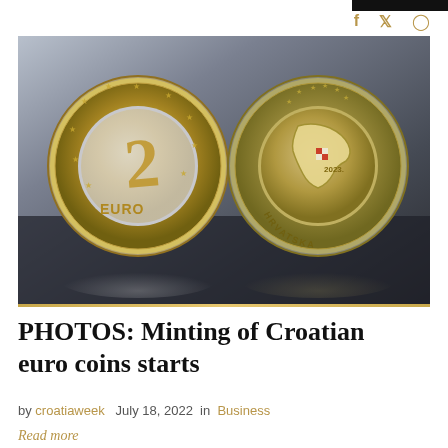f  y  O
[Figure (photo): Two Croatian 2-euro coins standing upright on a dark surface. The left coin shows the common EU side with the number 2 and EURO text. The right coin shows the Croatian national side featuring a map of Croatia with the text HRVATSKA and the year 2023.]
PHOTOS: Minting of Croatian euro coins starts
by croatiaweek   July 18, 2022  in  Business
Read more